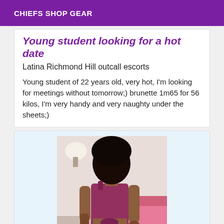CHIEFS SHOP GEAR
Young student looking for a hot date
Latina Richmond Hill outcall escorts
Young student of 22 years old, very hot, I'm looking for meetings without tomorrow;) brunette 1m65 for 56 kilos, I'm very handy and very naughty under the sheets;)
[Figure (photo): Young woman with dark hair wearing a pink/burgundy crop top and shorts, posing indoors]